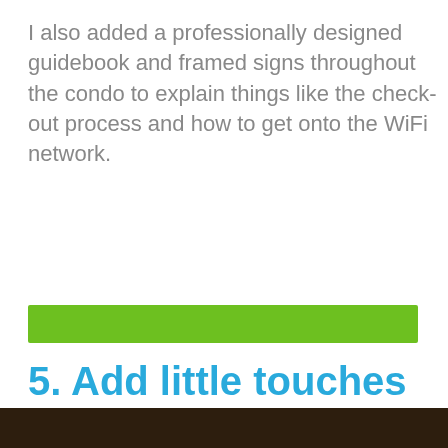I also added a professionally designed guidebook and framed signs throughout the condo to explain things like the check-out process and how to get onto the WiFi network.
[Figure (other): Green horizontal bar / divider element]
5. Add little touches to make a big difference.
[Figure (photo): Partial photo visible at bottom of page showing dark background with bottle/wine rack imagery]